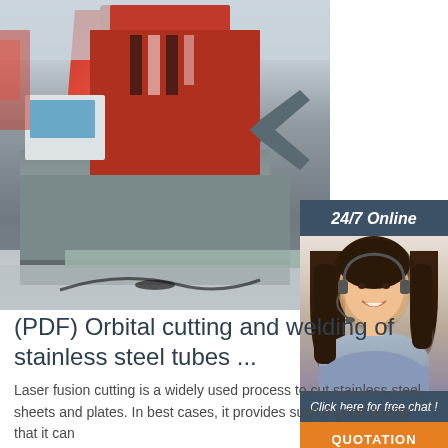[Figure (photo): Industrial orbital cutting/welding machine in a factory, large red and grey metal machinery with a CNC control panel on the left, factory floor visible]
[Figure (infographic): 24/7 Online customer service chat widget with a smiling woman wearing a headset, dark blue header saying '24/7 Online', text 'Click here for free chat!' and an orange QUOTATION button]
(PDF) Orbital cutting and welding of stainless steel tubes ...
Laser fusion cutting is a widely used process to cut stainless steel sheets and plates. In best cases, it provides such a good quality that it can